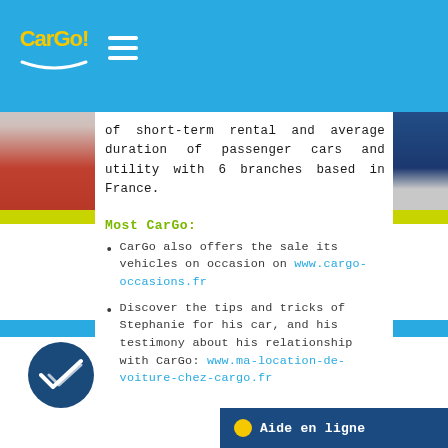CarGo! [logo and navigation]
of short-term rental and average duration of passenger cars and utility with 6 branches based in France.
Most CarGo:
CarGo also offers the sale its vehicles on occasion on www.cargo-occasions.fr
Discover the tips and tricks of Stephanie for his car, and his testimony about his relationship with CarGo: www.ma-location-de-voiture-chez-cargo.fr
[Figure (logo): CarGo! company logo in yellow and blue]
Aide en ligne